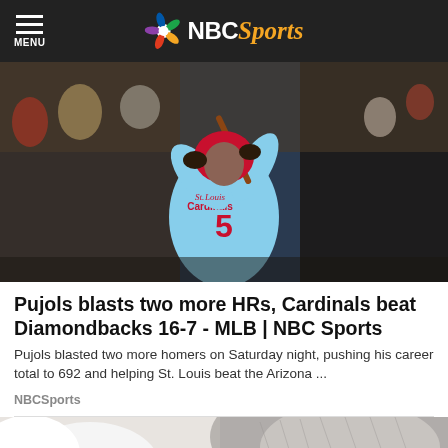MENU | NBC Sports
[Figure (photo): Baseball player in light blue St. Louis Cardinals jersey number 5 (Albert Pujols) mid-swing at bat, crowd in background]
Pujols blasts two more HRs, Cardinals beat Diamondbacks 16-7 - MLB | NBC Sports
Pujols blasted two more homers on Saturday night, pushing his career total to 692 and helping St. Louis beat the Arizona ...
NBCSports
[Figure (photo): Close-up partial view of two people, one in white shirt, showing back of a grey-haired person's head]